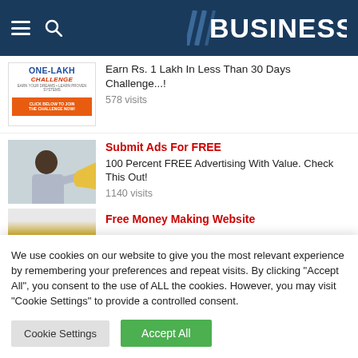BUSINESS
[Figure (screenshot): One Lakh Challenge advertisement thumbnail with orange button]
Earn Rs. 1 Lakh In Less Than 30 Days Challenge...!
578 visits
[Figure (photo): Man holding megaphone pointing at camera]
Submit Ads For FREE
100 Percent FREE Advertising With Value. Check This Out!
1140 visits
[Figure (screenshot): Partial thumbnail with yellow/gold color]
Free Money Making Website
We use cookies on our website to give you the most relevant experience by remembering your preferences and repeat visits. By clicking "Accept All", you consent to the use of ALL the cookies. However, you may visit "Cookie Settings" to provide a controlled consent.